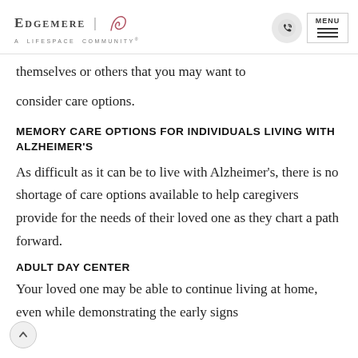EDGEMERE | A LIFESPACE COMMUNITY
themselves or others that you may want to consider care options.
MEMORY CARE OPTIONS FOR INDIVIDUALS LIVING WITH ALZHEIMER'S
As difficult as it can be to live with Alzheimer's, there is no shortage of care options available to help caregivers provide for the needs of their loved one as they chart a path forward.
ADULT DAY CENTER
Your loved one may be able to continue living at home, even while demonstrating the early signs